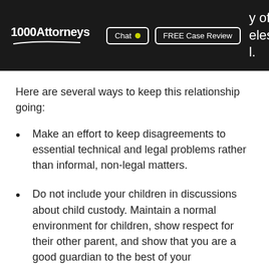1000Attorneys | Chat | FREE Case Review | y of | eles | l.
Here are several ways to keep this relationship going:
Make an effort to keep disagreements to essential technical and legal problems rather than informal, non-legal matters.
Do not include your children in discussions about child custody. Maintain a normal environment for children, show respect for their other parent, and show that you are a good guardian to the best of your